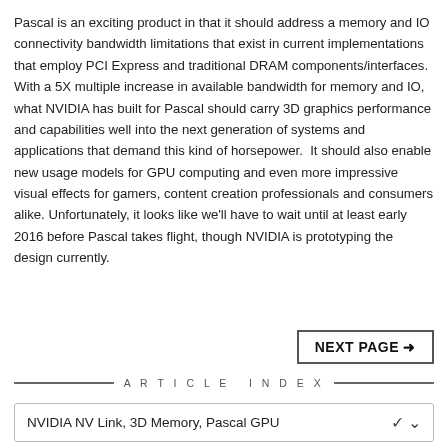Pascal is an exciting product in that it should address a memory and IO connectivity bandwidth limitations that exist in current implementations that employ PCI Express and traditional DRAM components/interfaces. With a 5X multiple increase in available bandwidth for memory and IO, what NVIDIA has built for Pascal should carry 3D graphics performance and capabilities well into the next generation of systems and applications that demand this kind of horsepower. It should also enable new usage models for GPU computing and even more impressive visual effects for gamers, content creation professionals and consumers alike. Unfortunately, it looks like we'll have to wait until at least early 2016 before Pascal takes flight, though NVIDIA is prototyping the design currently.
NEXT PAGE ➡
ARTICLE INDEX
NVIDIA NV Link, 3D Memory, Pascal GPU